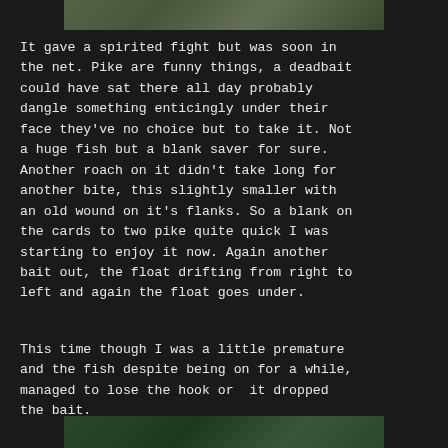[Figure (photo): Top portion of a photo showing people outdoors, partially cropped at top of page]
It gave a spirited fight but was soon in the net. Pike are funny things, a deadbait could have sat there all day probably dangle something enticingly under their face they've no choice but to take it. Not a huge fish but a blank saver for sure. Another roach on it didn't take long for another bite, this slightly smaller with an old wound on it's flanks. So a blank on the cards to two pike quite quick I was starting to enjoy it now. Again another bait out, the float drifting from right to left and again the float goes under.
This time though I was a little premature and the fish despite being on for a while, managed to lose the hook or  it dropped the bait.
[Figure (photo): Bottom portion of a photo showing fishing net with a fish, partially cropped at bottom of page]